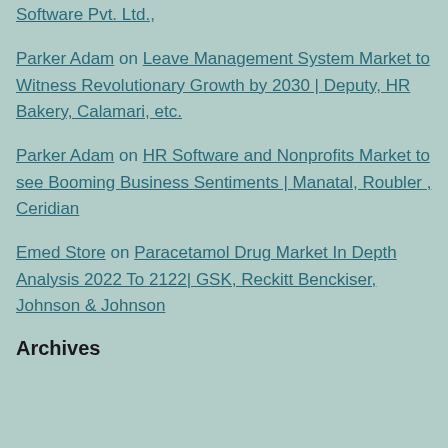Software Pvt. Ltd.,
Parker Adam on Leave Management System Market to Witness Revolutionary Growth by 2030 | Deputy, HR Bakery, Calamari, etc.
Parker Adam on HR Software and Nonprofits Market to see Booming Business Sentiments | Manatal, Roubler , Ceridian
Emed Store on Paracetamol Drug Market In Depth Analysis 2022 To 2122| GSK, Reckitt Benckiser, Johnson & Johnson
Archives